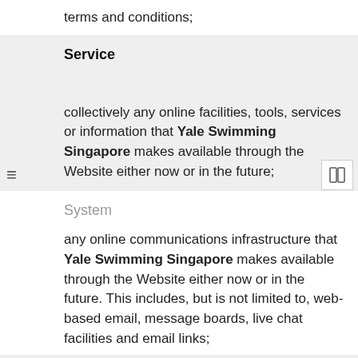terms and conditions;
Service
collectively any online facilities, tools, services or information that Yale Swimming Singapore makes available through the Website either now or in the future;
System
any online communications infrastructure that Yale Swimming Singapore makes available through the Website either now or in the future. This includes, but is not limited to, web-based email, message boards, live chat facilities and email links;
User/Users or you
any third party that accesses the Website and is not